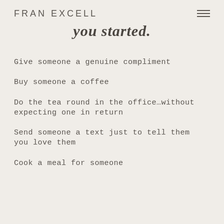FRAN EXCELL
you started.
Give someone a genuine compliment
Buy someone a coffee
Do the tea round in the office…without expecting one in return
Send someone a text just to tell them you love them
Cook a meal for someone